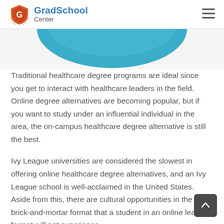GradSchool Center
[Figure (illustration): Teal/blue semicircle or dome shape visible at top of content area, partially cropped]
Traditional healthcare degree programs are ideal since you get to interact with healthcare leaders in the field. Online degree alternatives are becoming popular, but if you want to study under an influential individual in the area, the on-campus healthcare degree alternative is still the best.
Ivy League universities are considered the slowest in offering online healthcare degree alternatives, and an Ivy League school is well-acclaimed in the United States. Aside from this, there are cultural opportunities in the brick-and-mortar format that a student in an online learning format will not experience.
Online healthcare degree alternatives exist preferably to cater to